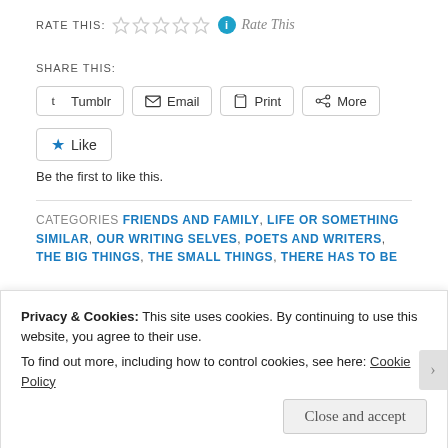RATE THIS: ☆☆☆☆☆ ℹ Rate This
SHARE THIS:
Tumblr  Email  Print  More
★ Like
Be the first to like this.
CATEGORIES  FRIENDS AND FAMILY, LIFE OR SOMETHING SIMILAR, OUR WRITING SELVES, POETS AND WRITERS, THE BIG THINGS, THE SMALL THINGS, THERE HAS TO BE
Privacy & Cookies: This site uses cookies. By continuing to use this website, you agree to their use.
To find out more, including how to control cookies, see here: Cookie Policy
Close and accept